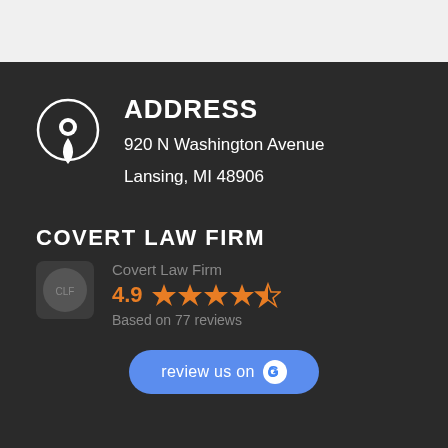ADDRESS
920 N Washington Avenue
Lansing, MI 48906
COVERT LAW FIRM
Covert Law Firm
4.9  ★★★★½
Based on 77 reviews
review us on G